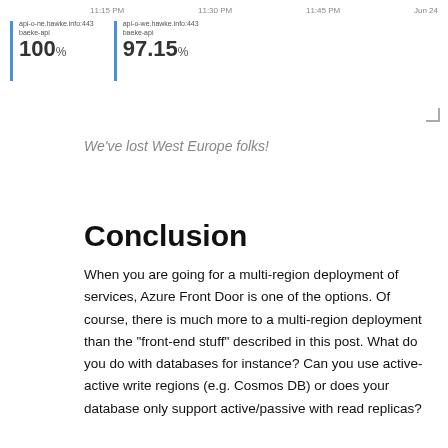[Figure (screenshot): A monitoring dashboard screenshot showing time labels (11:15 PM, 11:30 PM, 11:45 PM, Jun 24) and two metric blocks: api-o-ne.hawke.info:443 / baeke-api showing 100%, and api-o-we.hawke.info:443 / baeke-api showing 97.15%]
We've lost West Europe folks!
Conclusion
When you are going for a multi-region deployment of services, Azure Front Door is one of the options. Of course, there is much more to a multi-region deployment than the “front-end stuff” described in this post. What do you do with databases for instance? Can you use active-active write regions (e.g. Cosmos DB) or does your database only support active/passive with read replicas?